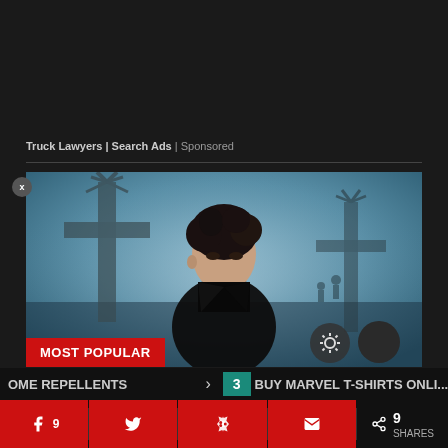Truck Lawyers | Search Ads | Sponsored
[Figure (photo): A young man with dark disheveled hair wearing a black jacket, standing in front of large cross-shaped structures in a misty blue-gray environment. Red banner overlay at bottom reading 'MOST POPULAR'.]
OME REPELLENTS
3
BUY MARVEL T-SHIRTS ONLI...
9 SHARES